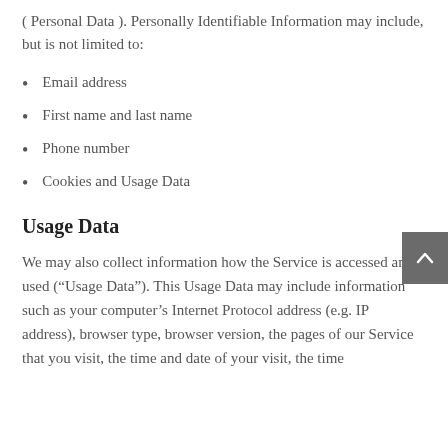( Personal Data ). Personally Identifiable Information may include, but is not limited to:
Email address
First name and last name
Phone number
Cookies and Usage Data
Usage Data
We may also collect information how the Service is accessed and used (“Usage Data”). This Usage Data may include information such as your computer’s Internet Protocol address (e.g. IP address), browser type, browser version, the pages of our Service that you visit, the time and date of your visit, the time